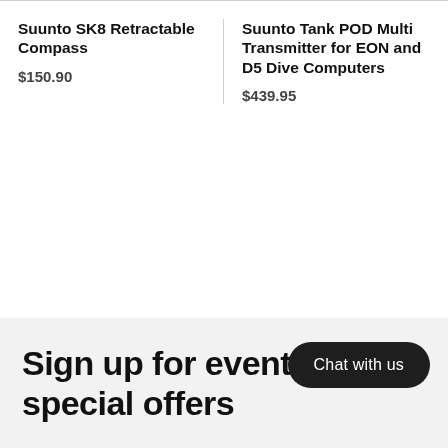Suunto SK8 Retractable Compass
$150.90
Suunto Tank POD Multi Transmitter for EON and D5 Dive Computers
$439.95
Sign up for events special offers
Chat with us